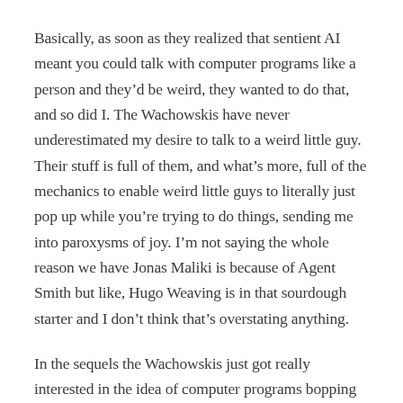Basically, as soon as they realized that sentient AI meant you could talk with computer programs like a person and they'd be weird, they wanted to do that, and so did I. The Wachowskis have never underestimated my desire to talk to a weird little guy. Their stuff is full of them, and what's more, full of the mechanics to enable weird little guys to literally just pop up while you're trying to do things, sending me into paroxysms of joy. I'm not saying the whole reason we have Jonas Maliki is because of Agent Smith but like, Hugo Weaving is in that sourdough starter and I don't think that's overstating anything.
In the sequels the Wachowskis just got really interested in the idea of computer programs bopping around being a tool or an obstacle depending, and ohhhh I get the